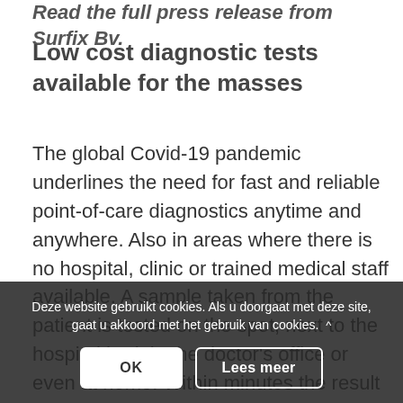Read the full press release from Surfix Bv.
Low cost diagnostic tests available for the masses
The global Covid-19 pandemic underlines the need for fast and reliable point-of-care diagnostics anytime and anywhere. Also in areas where there is no hospital, clinic or trained medical staff available. A sample taken from the patient is tested on the spot, next to the hospital bed, in the doctor's office or even at home. Within minutes the result is visible and appropriate action can be taken. But not in, in some cases inevitable, still time-consuming and expensive laboratory work or equipment involved. The availability of a quick and reliable
Deze website gebruikt cookies. Als u doorgaat met deze site, gaat u akkoord met het gebruik van cookies.